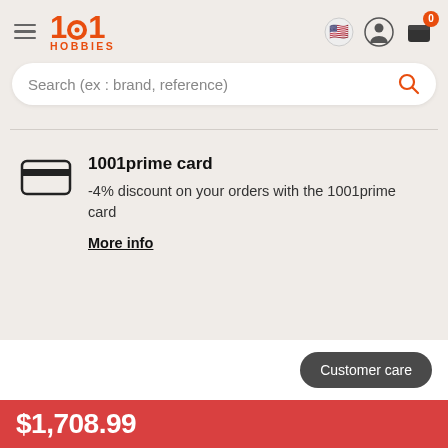1001 HOBBIES
Search (ex : brand, reference)
1001prime card
-4% discount on your orders with the 1001prime card
More info
Customer care
$1,708.99